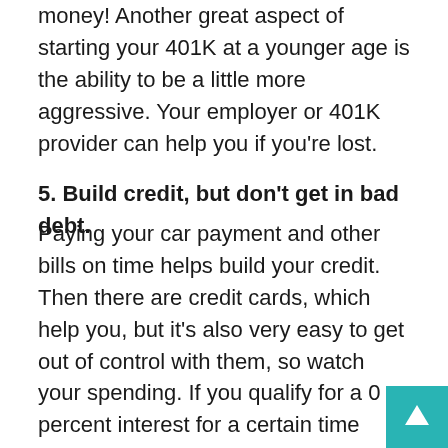money! Another great aspect of starting your 401K at a younger age is the ability to be a little more aggressive. Your employer or 401K provider can help you if you're lost.
5. Build credit, but don't get in bad debt.
Paying your car payment and other bills on time helps build your credit. Then there are credit cards, which help you, but it's also very easy to get out of control with them, so watch your spending. If you qualify for a 0 percent interest for a certain time period, take advantage of that and pay it off by the date. Once interest kicks in, it's really easy to become overwhelmed with debt.